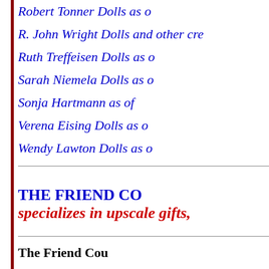Robert Tonner Dolls as o
R. John Wright Dolls and other cre
Ruth Treffeisen Dolls as o
Sarah Niemela Dolls as o
Sonja Hartmann as of
Verena Eising Dolls as o
Wendy Lawton Dolls as o
THE FRIEND CO
specializes in upscale gifts,
The Friend Cou